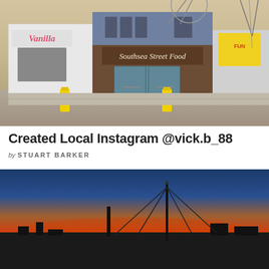[Figure (photo): Street-level exterior photo of Southsea Street Food shop and Vanilla building with a Ferris wheel visible in background, yellow bollards in foreground]
Created Local Instagram @vick.b_88
by STUART BARKER
[Figure (photo): Sunset/dusk silhouette photo showing a tall mast with cables against a gradient sky from deep blue at top to orange-red at horizon, with dark waterfront buildings in foreground]